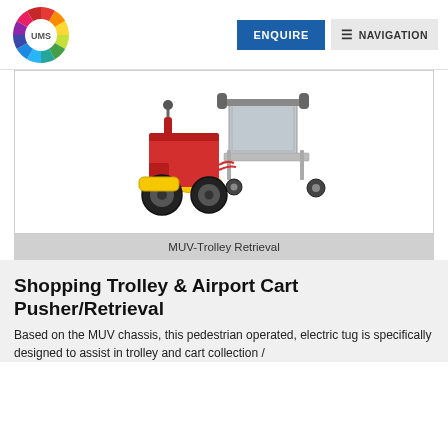[Figure (logo): UMS colorful wheel logo with text 'UMS' in the center]
[Figure (photo): MUV-Trolley Retrieval electric tug vehicle with red chassis, large black wheels, yellow bumper, pushing an airport luggage cart]
MUV-Trolley Retrieval
Shopping Trolley & Airport Cart Pusher/Retrieval
Based on the MUV chassis, this pedestrian operated, electric tug is specifically designed to assist in trolley and cart collection /